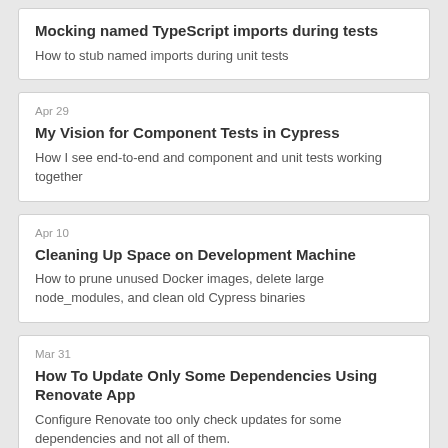Mocking named TypeScript imports during tests
How to stub named imports during unit tests
Apr 29
My Vision for Component Tests in Cypress
How I see end-to-end and component and unit tests working together
Apr 10
Cleaning Up Space on Development Machine
How to prune unused Docker images, delete large node_modules, and clean old Cypress binaries
Mar 31
How To Update Only Some Dependencies Using Renovate App
Configure Renovate too only check updates for some dependencies and not all of them.